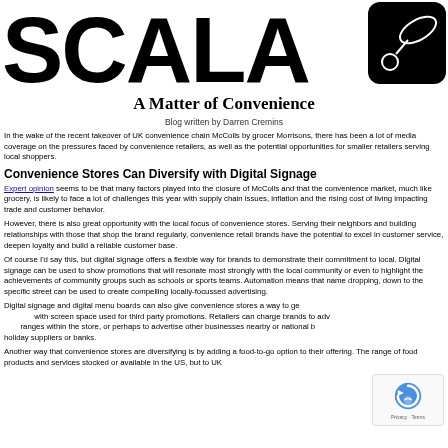[Figure (logo): SCALA logo with black text and a pill/capsule icon in a black rounded square on the right]
A Matter of Convenience
Blog written by Darren Cremins
In the wake of the recent takeover of UK convenience chain McColls by grocer Morrisons, there has been a lot of media coverage on the pressures faced by convenience retailers, as well as the potential opportunities for smaller retailers serving local shoppers.
Convenience Stores Can Diversify with Digital Signage
Expert opinion seems to be that many factors played into the closure of McColls and that the convenience market, much like grocery, is likely to face a lot of challenges this year with supply chain issues, inflation and the rising cost of living impacting trade and customer behavior.
However, there is also great opportunity with the local focus of convenience stores. Serving their neighbors and building relationships with those that shop the brand regularly, convenience retail brands have the potential to excel in customer service, deepen loyalty and build a reliable customer base.
Of course I'd say this, but digital signage offers a flexible way for brands to demonstrate their commitment to local. Digital signage can be used to show promotions that will resonate most strongly with the local community or even to highlight the achievements of community groups such as schools or sports teams. Automation means that name dropping, down to the specific street can be used to create compelling locally-focussed advertising.
Digital signage and digital menu boards can also give convenience stores a way to ge... with screen space used for third party promotions. Retailers can charge brands to adv... ranges within the store, or perhaps to advertise other businesses nearby or national b... holiday suppliers or banks.
Another way that convenience stores are diversifying is by adding a food-to-go option to their offering. The range of products and services stocked or available in the US, but to UK...